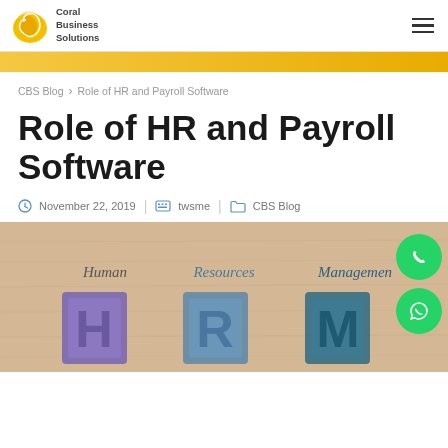Coral Business Solutions — logo and navigation
CBS Blog > Role of HR and Payroll Software
Role of HR and Payroll Software
November 22, 2019 | twsme | CBS Blog
[Figure (photo): Photo of wooden letter tiles spelling HRM — Human Resources Management — on a light wood background, showing letters H, R, M in purple, blue, and teal colors.]